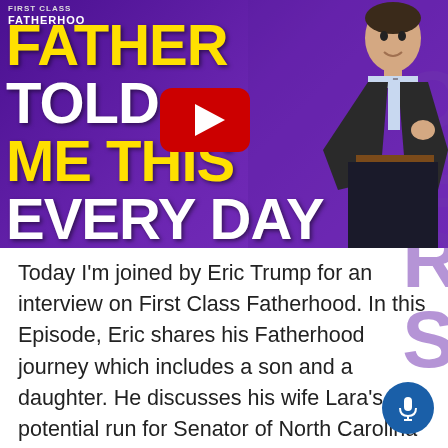[Figure (screenshot): YouTube video thumbnail with purple background showing text 'FATHER TOLD ME THIS EVERY DAY' in large yellow and white bold letters, a YouTube play button in the center, a man in a suit on the right side, and a podcast logo in the top left corner]
Today I'm joined by Eric Trump for an interview on First Class Fatherhood. In this Episode, Eric shares his Fatherhood journey which includes a son and a daughter. He discusses his wife Lara's potential run for Senator of North Carolina and why they made the family decision to ultimately n...